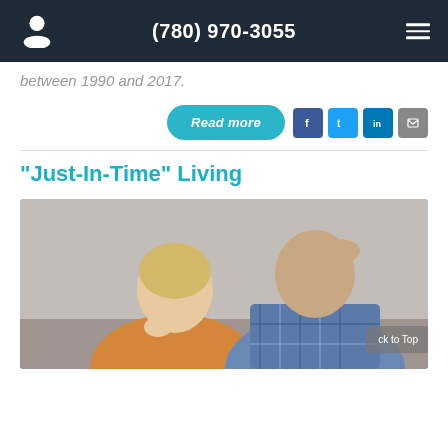(780) 970-3055
between 1990 and 2017.
[Figure (other): Read more button with social sharing icons for Facebook, Twitter, LinkedIn, and email]
"Just-In-Time" Living
[Figure (photo): A stressed couple sitting together: a woman with blonde hair leaning her chin on her hand looking down, and a man in a plaid shirt holding his hand to his forehead looking distressed]